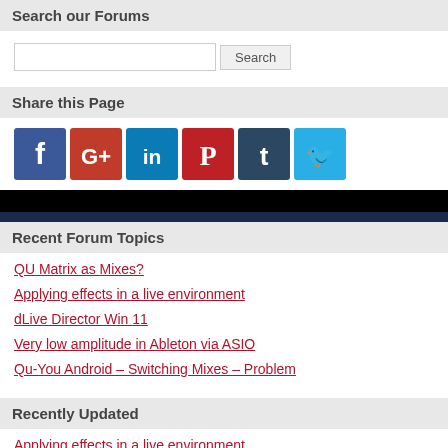Search our Forums
[Search input and button]
Share this Page
[Figure (infographic): Social media share icons: Facebook (blue), Google+ (red), LinkedIn (teal), Pinterest (red), Tumblr (dark blue), Twitter (light blue)]
Recent Forum Topics
QU Matrix as Mixes?
Applying effects in a live environment
dLive Director Win 11
Very low amplitude in Ableton via ASIO
Qu-You Android – Switching Mixes – Problem
Recently Updated
Applying effects in a live environment
QU Matrix as Mixes?